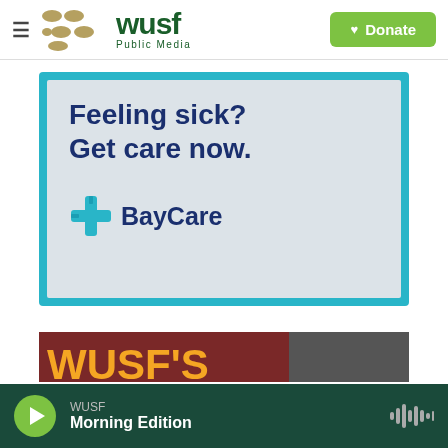[Figure (logo): WUSF Public Media logo with golden oval shapes and green text, plus a green Donate button with heart icon]
[Figure (illustration): BayCare advertisement with cyan border on gray background reading 'Feeling sick? Get care now.' with BayCare logo in dark blue and cyan cross]
[Figure (screenshot): Partially visible promotional image strip with orange text on dark red background]
[Figure (screenshot): Audio player bar: dark green background with green play button, WUSF Morning Edition text, and waveform icon]